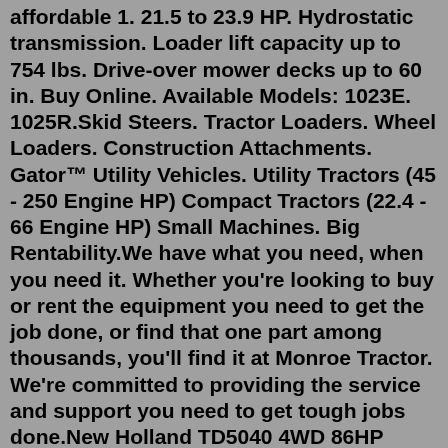affordable 1. 21.5 to 23.9 HP. Hydrostatic transmission. Loader lift capacity up to 754 lbs. Drive-over mower decks up to 60 in. Buy Online. Available Models: 1023E. 1025R.Skid Steers. Tractor Loaders. Wheel Loaders. Construction Attachments. Gator™ Utility Vehicles. Utility Tractors (45 - 250 Engine HP) Compact Tractors (22.4 - 66 Engine HP) Small Machines. Big Rentability.We have what you need, when you need it. Whether you're looking to buy or rent the equipment you need to get the job done, or find that one part among thousands, you'll find it at Monroe Tractor. We're committed to providing the service and support you need to get tough jobs done.New Holland TD5040 4WD 86HP Farm Tractor Utility Ag 540 PTO bidadoo -New. $38,500.00. or Best Offer. 16 watching. 1949 John Deere Model A Tractor Narrow Front, Restoration Project. **AWESOME**.The Trailblazer Package. 45 hp (two-wheel drive) Utility Tractor, loader, & bale spear. $26,499 or $285 per month. Request a Quote Shop More. The Patriot Package. 75 hp (mechanical